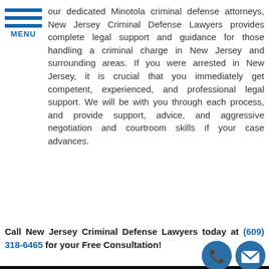[Figure (other): Hamburger menu icon with three horizontal blue bars and MENU label]
our dedicated Minotola criminal defense attorneys, New Jersey Criminal Defense Lawyers provides complete legal support and guidance for those handling a criminal charge in New Jersey and surrounding areas. If you were arrested in New Jersey, it is crucial that you immediately get competent, experienced, and professional legal support. We will be with you through each process, and provide support, advice, and aggressive negotiation and courtroom skills if your case advances.
Call New Jersey Criminal Defense Lawyers today at (609) 318-6465 for your Free Consultation!
GET YOUR FREE CONSULTATION
Full Name
Best Phone